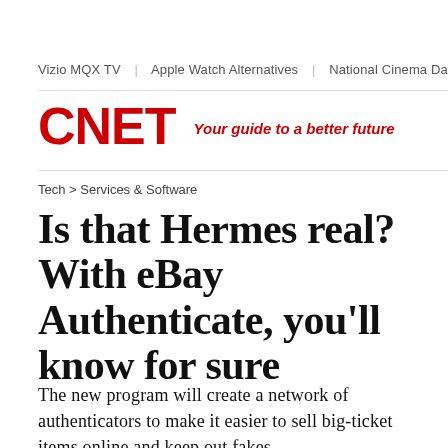Vizio MQX TV  |  Apple Watch Alternatives  |  National Cinema Day  |  Be...
CNET — Your guide to a better future
Tech > Services & Software
Is that Hermes real? With eBay Authenticate, you'll know for sure
The new program will create a network of authenticators to make it easier to sell big-ticket items online and keep out fakes.